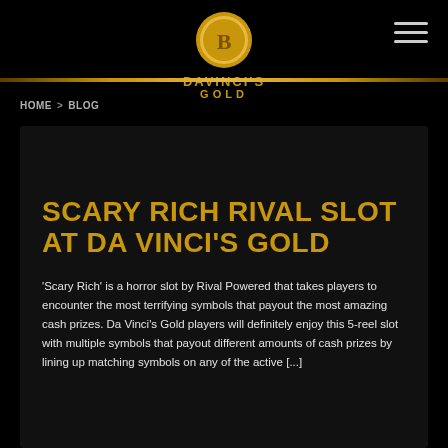Da Vinci's Gold
HOME > BLOG
SCARY RICH RIVAL SLOT AT DA VINCI'S GOLD
'Scary Rich' is a horror slot by Rival Powered that takes players to encounter the most terrifying symbols that payout the most amazing cash prizes. Da Vinci's Gold players will definitely enjoy this 5-reel slot with multiple symbols that payout different amounts of cash prizes by lining up matching symbols on any of the active [...]